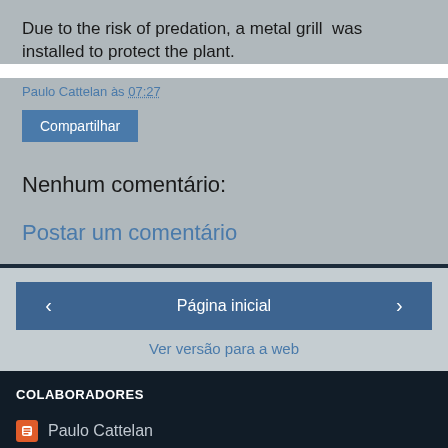Due to the risk of predation, a metal grill  was installed to protect the plant.
Paulo Cattelan às 07:27
Compartilhar
Nenhum comentário:
Postar um comentário
‹
Página inicial
›
Ver versão para a web
COLABORADORES
Paulo Cattelan
Unknown
Tecnologia do Blogger.